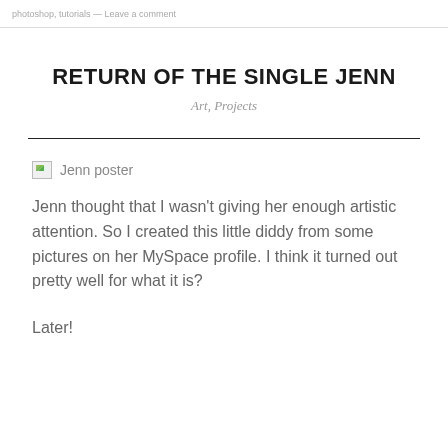photoshop, tutorials — Leave a comment
RETURN OF THE SINGLE JENN
Art, Projects
[Figure (photo): Broken image placeholder labeled 'Jenn poster']
Jenn thought that I wasn't giving her enough artistic attention. So I created this little diddy from some pictures on her MySpace profile. I think it turned out pretty well for what it is?
Later!